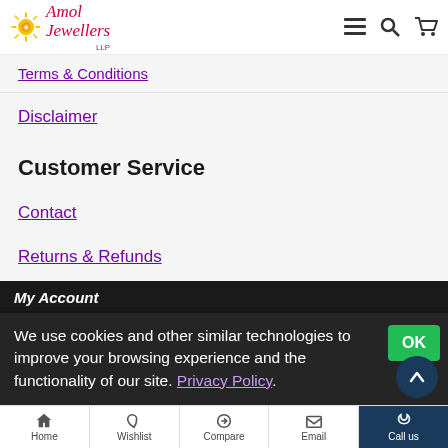Amol Jewellers LLP
Terms & Conditions
Disclaimer
Customer Service
Contact
Returns & Refunds
Site Map
Brands
My Account
We use cookies and other similar technologies to improve your browsing experience and the functionality of our site. Privacy Policy.
Home | Wishlist | Compare | Email | Call us